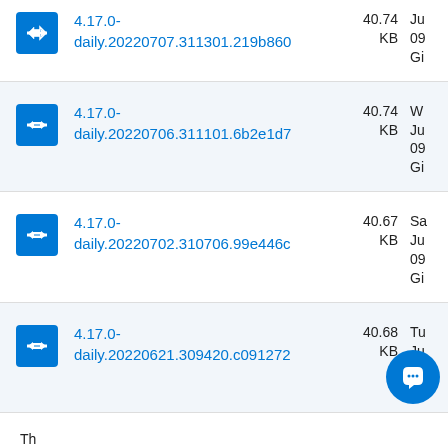4.17.0-daily.20220707.311301.219b860 40.74 KB Ju 09 Gi
4.17.0-daily.20220706.311101.6b2e1d7 40.74 KB Ju 09 Gi
4.17.0-daily.20220702.310706.99e446c 40.67 KB Sa Ju 09 Gi
4.17.0-daily.20220621.309420.c091272 40.68 KB Tu Ju 09 Gi
Th